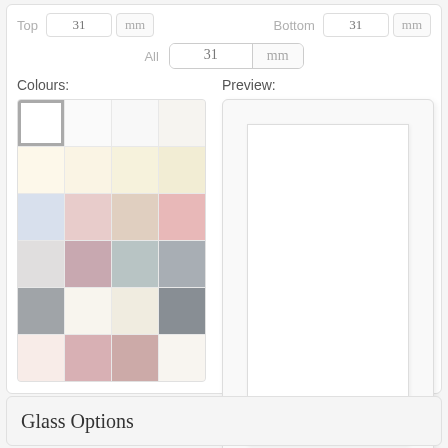Top
31
mm
Bottom
31
mm
All
31
mm
Colours:
Preview:
[Figure (other): Colour swatch grid with 4 columns and 6 rows. First cell (top-left) is white with a gray selected border. Row 2: 4 cream/off-white swatches. Row 3: light blue, light pink, light tan, medium pink. Row 4: light gray, mauve/dusty rose, gray-teal, darker gray. Row 5: medium gray, empty white, off-white cream, dark gray. Row 6: light blush pink, medium mauve, medium dusty rose, empty.]
[Figure (other): Preview box showing a white mat/mount frame. Light gray outer border with inner white rectangular frame representing a photo mat.]
Glass Options